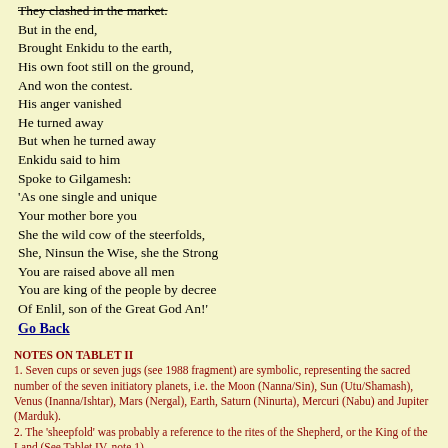They clashed in the market.
But in the end,
Brought Enkidu to the earth,
His own foot still on the ground,
And won the contest.
His anger vanished
He turned away
But when he turned away
Enkidu said to him
Spoke to Gilgamesh:
'As one single and unique
Your mother bore you
She the wild cow of the steerfolds,
She, Ninsun the Wise, she the Strong
You are raised above all men
You are king of the people by decree
Of Enlil, son of the Great God An!'
Go Back
NOTES ON TABLET II
1. Seven cups or seven jugs (see 1988 fragment) are symbolic, representing the sacred number of the seven initiatory planets, i.e. the Moon (Nanna/Sin), Sun (Utu/Shamash), Venus (Inanna/Ishtar), Mars (Nergal), Earth, Saturn (Ninurta), Mercuri (Nabu) and Jupiter (Marduk).
2. The 'sheepfold' was probably a reference to the rites of the Shepherd, or the King of the Land (See Tablet IV, note 1).
3. Eating of the bread and drining of the superior form of beer constituted probably a ritual of some kind, intended to prepare a candidate to the role of king and priest, a combination that was routine these days.
4. See note 1.
Back To The Top